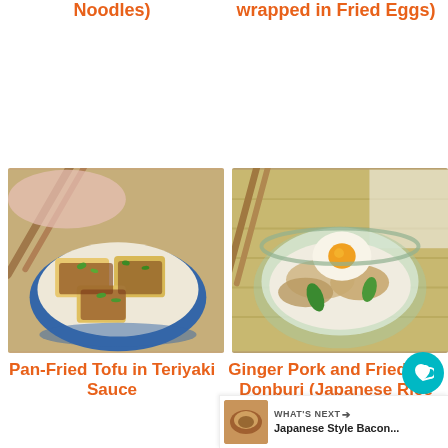Noodles)
wrapped in Fried Eggs)
[Figure (photo): Pan-fried tofu pieces with teriyaki sauce, green onions, in a blue and white bowl on a woven mat with chopsticks]
[Figure (photo): Ginger pork and fried egg donburi in a glass bowl on a bamboo mat with chopsticks]
Pan-Fried Tofu in Teriyaki Sauce
Ginger Pork and Fried Egg Donburi (Japanese Rice Bowl Di
[Figure (other): Heart/like button icon (teal circle with white heart), count 33, share button]
[Figure (other): What's Next panel showing Japanese Style Bacon... thumbnail]